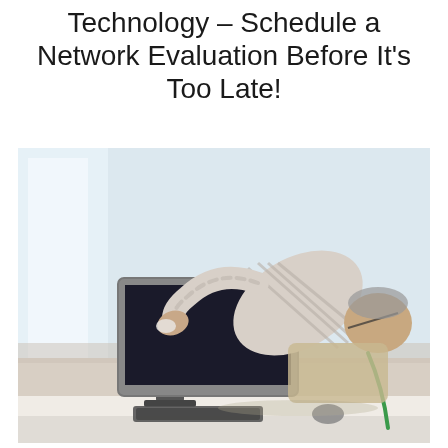Technology – Schedule a Network Evaluation Before It's Too Late!
[Figure (photo): An older man in a striped shirt leaning over a desk, cleaning or pressing on a flat computer monitor screen with a cloth. A keyboard and mouse are on the white desk. The background is a bright, blurred office interior.]